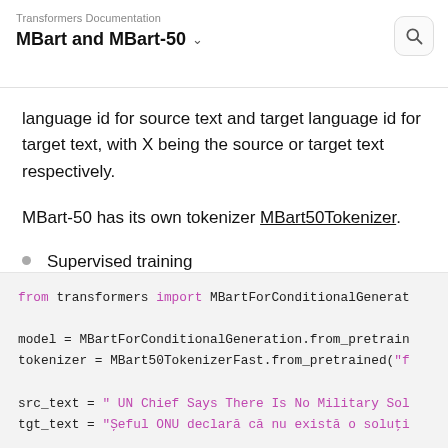Transformers Documentation
MBart and MBart-50
language id for source text and target language id for target text, with X being the source or target text respectively.
MBart-50 has its own tokenizer MBart50Tokenizer.
Supervised training
from transformers import MBartForConditionalGenerat

model = MBartForConditionalGeneration.from_pretrain
tokenizer = MBart50TokenizerFast.from_pretrained("f

src_text = " UN Chief Says There Is No Military Sol
tgt_text = "Șeful ONU declară că nu există o soluți